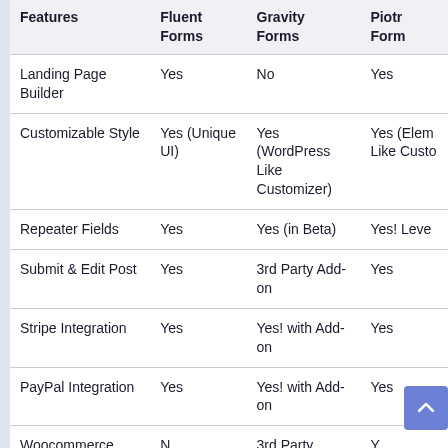| Features | Fluent Forms | Gravity Forms | Piotr Form |
| --- | --- | --- | --- |
| Landing Page Builder | Yes | No | Yes |
| Customizable Style | Yes (Unique UI) | Yes (WordPress Like Customizer) | Yes (Elem Like Custo |
| Repeater Fields | Yes | Yes (in Beta) | Yes! Leve |
| Submit & Edit Post | Yes | 3rd Party Add-on | Yes |
| Stripe Integration | Yes | Yes! with Add-on | Yes |
| PayPal Integration | Yes | Yes! with Add-on | Yes |
| Woocommerce | N… | 3rd Party | Y… |